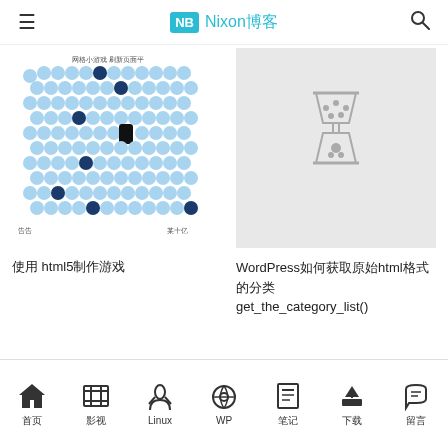NB Nixon博客
[Figure (illustration): A grid of light blue circles with some dark navy blue circles scattered among them, resembling a game or visualization. Small Chinese text labels at bottom left and right corners.]
使用 html5制作游戏
[Figure (illustration): A light gray placeholder image with an hourglass icon in the center.]
WordPress如何获取原始html格式的分类 get_the_category_list()
首页  影视  Linux  WP  笔记  下载  留言